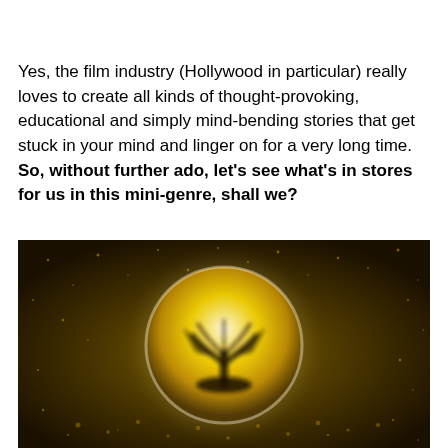Yes, the film industry (Hollywood in particular) really loves to create all kinds of thought-provoking, educational and simply mind-bending stories that get stuck in your mind and linger on for a very long time. So, without further ado, let's see what's in stores for us in this mini-genre, shall we?
[Figure (photo): A glowing golden orb or sphere containing a dark plant or creature silhouette, surrounded by sparkling golden particles against a dark background — a cinematic fantasy/sci-fi image.]